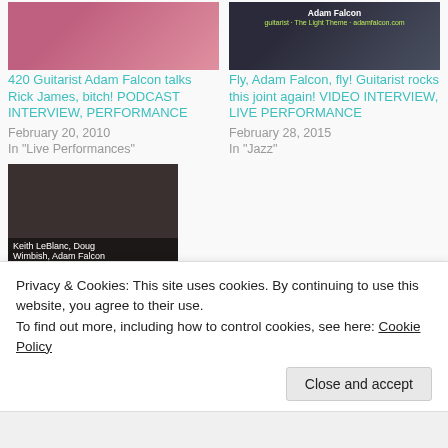[Figure (photo): Thumbnail image - pink/concert background for Adam Falcon guitarist article]
420 Guitarist Adam Falcon talks Rick James, bitch! PODCAST INTERVIEW, PERFORMANCE
February 20, 2010
In "Live Performances"
[Figure (photo): Thumbnail image - dark background with Adam Falcon text overlay and yellow/green text]
Fly, Adam Falcon, fly! Guitarist rocks this joint again! VIDEO INTERVIEW, LIVE PERFORMANCE
February 28, 2015
In "Jazz"
[Figure (photo): Thumbnail showing Keith LeBlanc, Doug Wimbish, Adam Falcon - three people seated indoors]
In Living Colour: Doug
Privacy & Cookies: This site uses cookies. By continuing to use this website, you agree to their use.
To find out more, including how to control cookies, see here: Cookie Policy
Close and accept